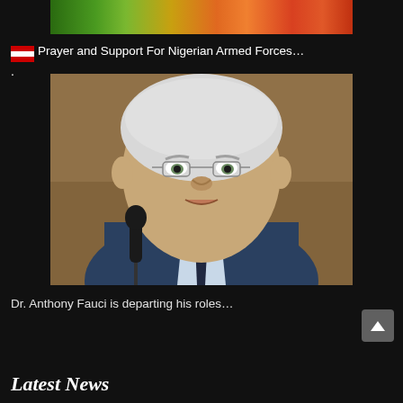[Figure (photo): Partial top strip of a colorful photo, likely of a person in colorful attire]
Prayer and Support For Nigerian Armed Forces…
[Figure (photo): Dr. Anthony Fauci, an elderly man with white hair wearing a blue suit and dark tie, speaking at a microphone during what appears to be a congressional hearing]
Dr. Anthony Fauci is departing his roles…
Latest News